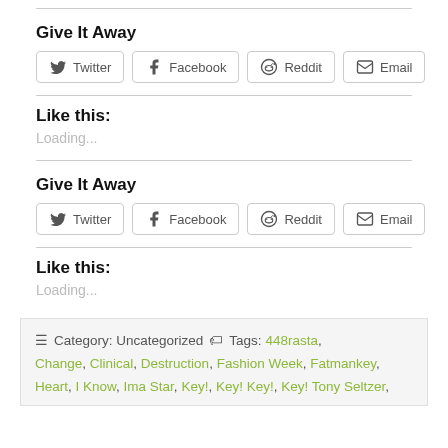Give It Away
[Figure (other): Share buttons: Twitter, Facebook, Reddit, Email]
Like this:
Loading...
Give It Away
[Figure (other): Share buttons: Twitter, Facebook, Reddit, Email]
Like this:
Loading...
Category: Uncategorized   Tags: 448rasta, Change, Clinical, Destruction, Fashion Week, Fatmankey, Heart, I Know, Ima Star, Key!, Key! Key!, Key! Tony Seltzer